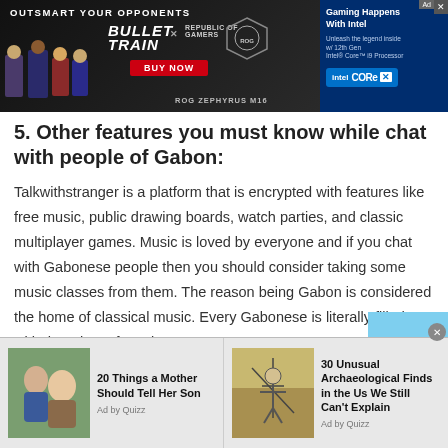[Figure (screenshot): Advertisement banner: 'OUTSMART YOUR OPPONENTS — BULLET TRAIN x REPUBLIC OF GAMERS, BUY NOW, ROG ZEPHYRUS M16' with Intel Core branding on the right]
5. Other features you must know while chat with people of Gabon:
Talkwithstranger is a platform that is encrypted with features like free music, public drawing boards, watch parties, and classic multiplayer games. Music is loved by everyone and if you chat with Gabonese people then you should consider taking some music classes from them. The reason being Gabon is considered the home of classical music. Every Gabonese is literally filled with the talent of music
[Figure (screenshot): Bottom advertisement bar with two sponsored content items: '20 Things a Mother Should Tell Her Son — Ad by Quizz' and '30 Unusual Archaeological Finds in the Us We Still Can't Explain — Ad by Quizz']